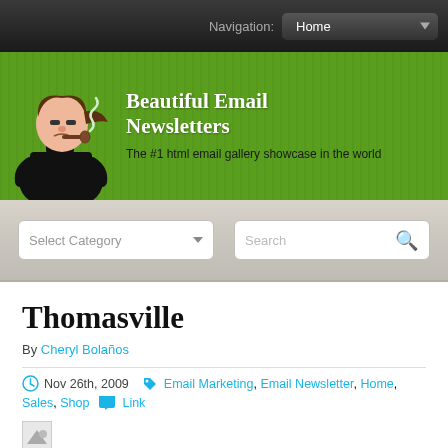Navigation: Home
[Figure (illustration): Green banner with cartoon character (person in black turtleneck holding a pipe) and site title. Title: Beautiful Email Newsletters. Subtitle: The #1 html email gallery showcase in the world]
Beautiful Email Newsletters
The #1 html email gallery showcase in the world
Select Category (dropdown) | Search (search box)
Thomasville
By Cheryl Bolaños
Nov 26th, 2009   Email Marketing, Email Newsletter, Home, Sales, Shop   Link